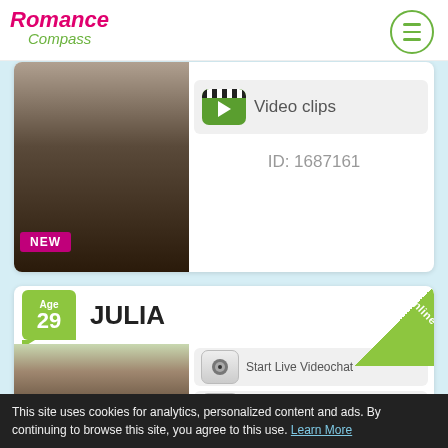Romance Compass
[Figure (photo): Profile photo of a woman with long dark hair wearing a black top and pearl necklace, with a NEW badge overlay]
Video clips
ID: 1687161
Age 29 JULIA online
[Figure (photo): Profile photo of a young woman with long dark hair, red lips, smiling]
Start Live Videochat
Write New Message
This site uses cookies for analytics, personalized content and ads. By continuing to browse this site, you agree to this use. Learn More